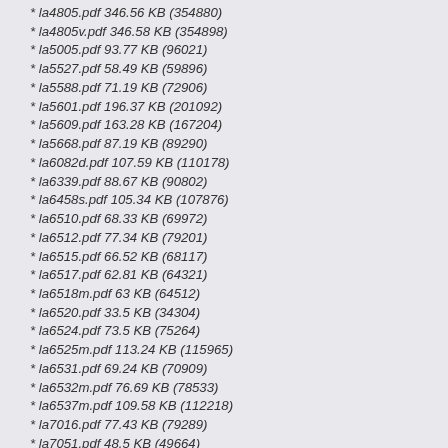* la4805.pdf 346.56 KB (354880)
* la4805v.pdf 346.58 KB (354898)
* la5005.pdf 93.77 KB (96021)
* la5527.pdf 58.49 KB (59896)
* la5588.pdf 71.19 KB (72906)
* la5601.pdf 196.37 KB (201092)
* la5609.pdf 163.28 KB (167204)
* la5668.pdf 87.19 KB (89290)
* la6082d.pdf 107.59 KB (110178)
* la6339.pdf 88.67 KB (90802)
* la6458s.pdf 105.34 KB (107876)
* la6510.pdf 68.33 KB (69972)
* la6512.pdf 77.34 KB (79201)
* la6515.pdf 66.52 KB (68117)
* la6517.pdf 62.81 KB (64321)
* la6518m.pdf 63 KB (64512)
* la6520.pdf 33.5 KB (34304)
* la6524.pdf 73.5 KB (75264)
* la6525m.pdf 113.24 KB (115965)
* la6531.pdf 69.24 KB (70909)
* la6532m.pdf 76.69 KB (78533)
* la6537m.pdf 109.58 KB (112218)
* la7016.pdf 77.43 KB (79289)
* la7051.pdf 48.5 KB (49664)
* la7053.pdf 66 KB (67584)
* la7054.pdf 51 KB (52224)
* la7116.pdf 79.44 KB (81351)
* la7151.pdf 102.07 KB (104527)
* la7214.pdf 39.5 KB (40448)
* la7217.pdf 72.75 KB (74503)